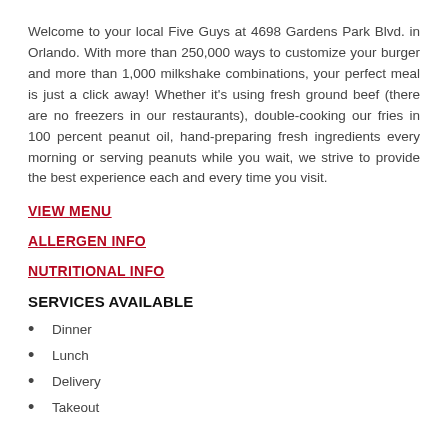Welcome to your local Five Guys at 4698 Gardens Park Blvd. in Orlando. With more than 250,000 ways to customize your burger and more than 1,000 milkshake combinations, your perfect meal is just a click away! Whether it's using fresh ground beef (there are no freezers in our restaurants), double-cooking our fries in 100 percent peanut oil, hand-preparing fresh ingredients every morning or serving peanuts while you wait, we strive to provide the best experience each and every time you visit.
VIEW MENU
ALLERGEN INFO
NUTRITIONAL INFO
SERVICES AVAILABLE
Dinner
Lunch
Delivery
Takeout